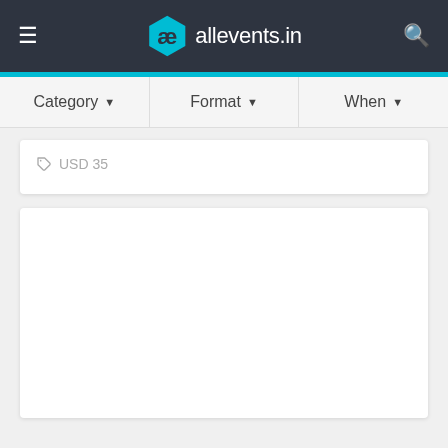allevents.in
Category ▾   Format ▾   When ▾
USD 35
[Figure (screenshot): Empty white card area below USD 35 price listing on allevents.in website]